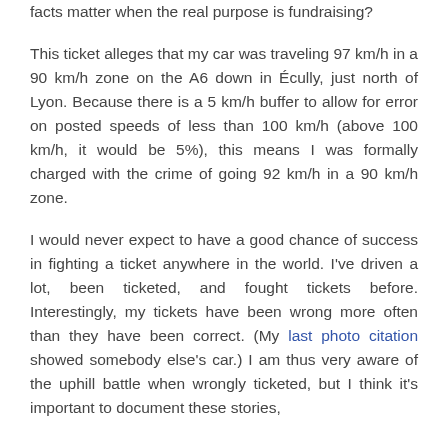facts matter when the real purpose is fundraising?
This ticket alleges that my car was traveling 97 km/h in a 90 km/h zone on the A6 down in Écully, just north of Lyon. Because there is a 5 km/h buffer to allow for error on posted speeds of less than 100 km/h (above 100 km/h, it would be 5%), this means I was formally charged with the crime of going 92 km/h in a 90 km/h zone.
I would never expect to have a good chance of success in fighting a ticket anywhere in the world. I've driven a lot, been ticketed, and fought tickets before. Interestingly, my tickets have been wrong more often than they have been correct. (My last photo citation showed somebody else's car.) I am thus very aware of the uphill battle when wrongly ticketed, but I think it's important to document these stories,